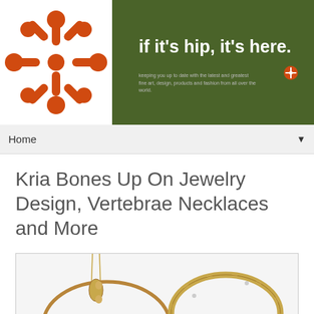[Figure (logo): If it's hip it's here website header banner with orange snowflake/asterisk logo on white circle and green background with tagline 'if it's hip, it's here.']
Home ▼
Kria Bones Up On Jewelry Design, Vertebrae Necklaces and More
[Figure (photo): Photo of gold jewelry including a vertebrae-style necklace and a bamboo-textured bangle bracelet on white background]